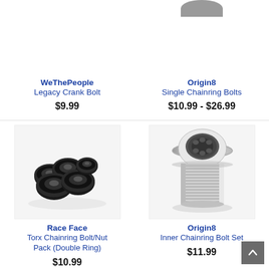WeThePeople
Legacy Crank Bolt
$9.99
Origin8
Single Chainring Bolts
$10.99 - $26.99
[Figure (photo): Set of black chainring bolt/nut hardware pieces on white background]
Race Face
Torx Chainring Bolt/Nut Pack (Double Ring)
$10.99
[Figure (photo): Silver/chrome threaded inner chainring bolt with torx head on white background]
Origin8
Inner Chainring Bolt Set
$11.99